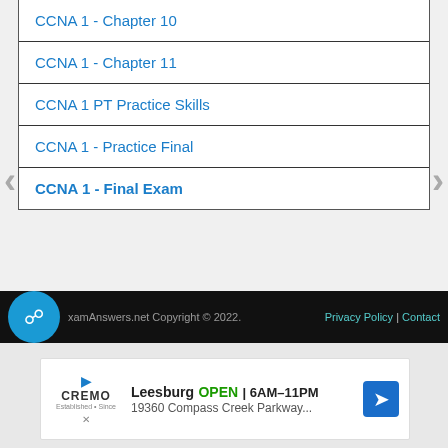| CCNA 1 - Chapter 10 |
| CCNA 1 - Chapter 11 |
| CCNA 1 PT Practice Skills |
| CCNA 1 - Practice Final |
| CCNA 1 - Final Exam |
ExamAnswers.net Copyright © 2022.  Privacy Policy | Contact
[Figure (infographic): Advertisement for Cremo store in Leesburg showing open hours 6AM-11PM and address 19360 Compass Creek Parkway...]